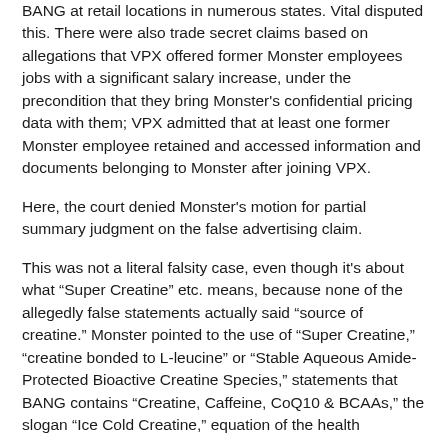BANG at retail locations in numerous states. Vital disputed this. There were also trade secret claims based on allegations that VPX offered former Monster employees jobs with a significant salary increase, under the precondition that they bring Monster's confidential pricing data with them; VPX admitted that at least one former Monster employee retained and accessed information and documents belonging to Monster after joining VPX.
Here, the court denied Monster's motion for partial summary judgment on the false advertising claim.
This was not a literal falsity case, even though it's about what "Super Creatine" etc. means, because none of the allegedly false statements actually said "source of creatine." Monster pointed to the use of "Super Creatine," "creatine bonded to L-leucine" or "Stable Aqueous Amide-Protected Bioactive Creatine Species," statements that BANG contains "Creatine, Caffeine, CoQ10 & BCAAs," the slogan "Ice Cold Creatine," equation of the health
benefits of creatine monohydrate with those of CLL; and referencing "creatine" without specifying Super Creatine or